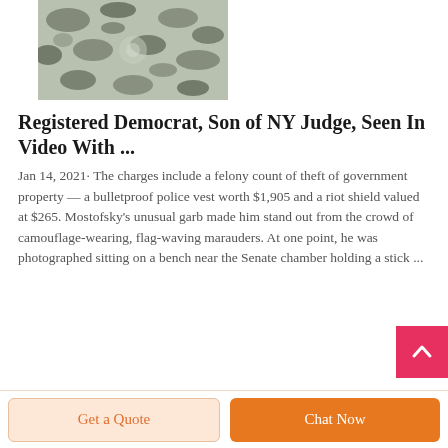[Figure (photo): Close-up photo of camouflage fabric in grey and dark grey tones, slightly bunched or twisted in the center.]
Registered Democrat, Son of NY Judge, Seen In Video With ...
Jan 14, 2021· The charges include a felony count of theft of government property — a bulletproof police vest worth $1,905 and a riot shield valued at $265. Mostofsky's unusual garb made him stand out from the crowd of camouflage-wearing, flag-waving marauders. At one point, he was photographed sitting on a bench near the Senate chamber holding a stick ...
Get a Quote   Chat Now